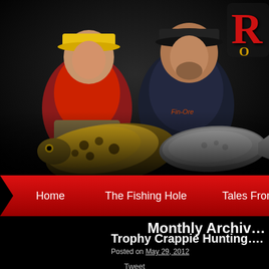[Figure (photo): Two people holding large fish (crappie and another fish) on a dark background, woman in red jacket with yellow hat on left, man in dark Fin-Ore shirt with dark hat on right. Red logo with letter R visible in top right corner.]
Home   The Fishing Hole   Tales From T...
Monthly Archiv...
Trophy Crappie Hunting....
Posted on May 29, 2012
Tweet